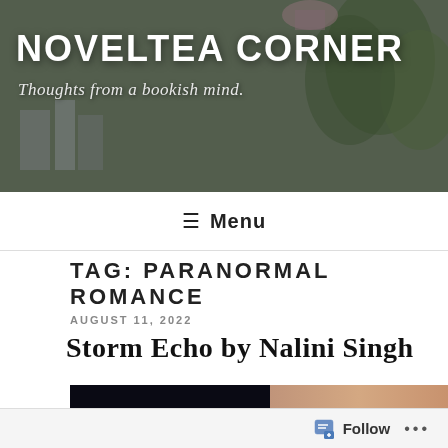NOVELTEA CORNER
Thoughts from a bookish mind.
≡ Menu
TAG: PARANORMAL ROMANCE
AUGUST 11, 2022
Storm Echo by Nalini Singh
[Figure (photo): Split image: left side shows dark background with constellation/network dot-and-line pattern in blue-white; right side shows close-up of a person's face/skin.]
Follow ...